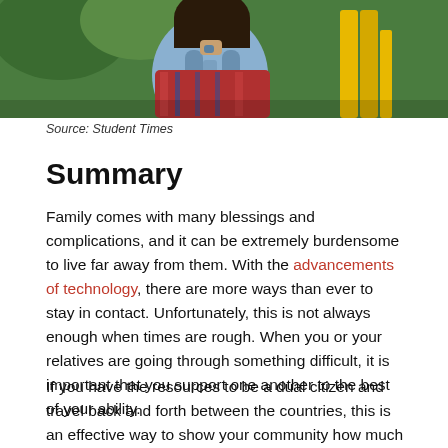[Figure (photo): Photo of a student seen from behind wearing a backpack with colorful jacket, outdoors with greenery and yellow structure in background]
Source: Student Times
Summary
Family comes with many blessings and complications, and it can be extremely burdensome to live far away from them. With the advancements of technology, there are more ways than ever to stay in contact. Unfortunately, this is not always enough when times are rough. When you or your relatives are going through something difficult, it is important that you support one another to the best of your ability.
If you have the resources to be a dual citizen and travel back and forth between the countries, this is an effective way to show your community how much you care about them. By